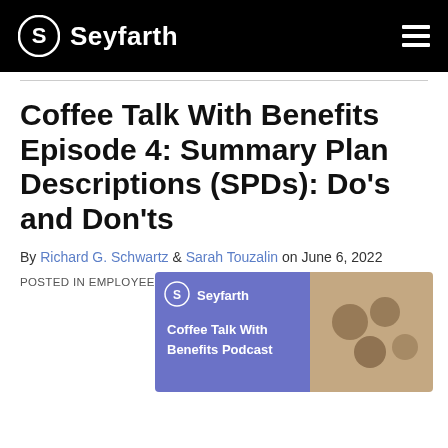Seyfarth
Coffee Talk With Benefits Episode 4: Summary Plan Descriptions (SPDs): Do's and Don'ts
By Richard G. Schwartz & Sarah Touzalin on June 6, 2022
POSTED IN EMPLOYEE BENEFITS, HEALTH & WELFARE PLANS
[Figure (other): Seyfarth Coffee Talk With Benefits Podcast promotional image showing the Seyfarth logo on a purple background on the left, alongside a sepia-toned aerial photo of coffee cups on the right, with text 'Coffee Talk With Benefits' and 'Benefits Podcast' visible.]